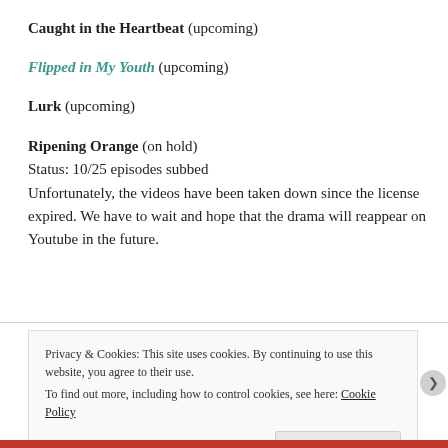Caught in the Heartbeat (upcoming)
Flipped in My Youth (upcoming)
Lurk (upcoming)
Ripening Orange (on hold)
Status: 10/25 episodes subbed
Unfortunately, the videos have been taken down since the license expired. We have to wait and hope that the drama will reappear on Youtube in the future.
Privacy & Cookies: This site uses cookies. By continuing to use this website, you agree to their use.
To find out more, including how to control cookies, see here: Cookie Policy
Close and accept